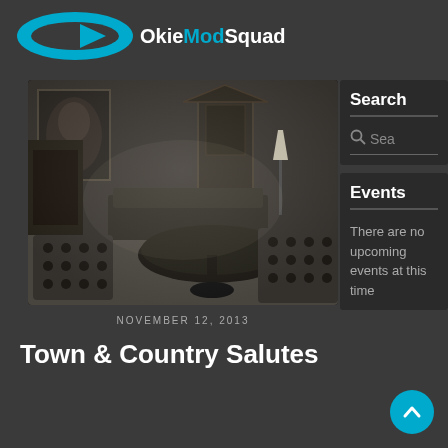OkieModSquad
[Figure (photo): Black and white interior photograph of a mid-century modern living room with patterned chairs, a round table, a lamp, and a painting on the wall.]
NOVEMBER 12, 2013
Town & Country Salutes
Search
Sea
Events
There are no upcoming events at this time